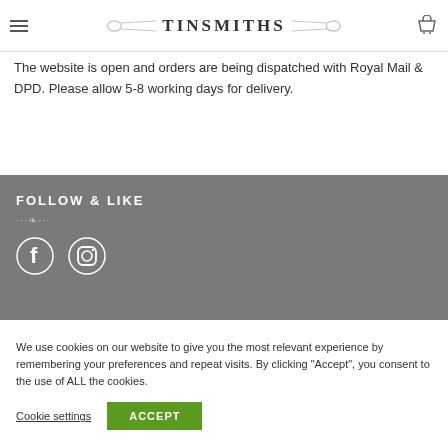TINSMITHS
The website is open and orders are being dispatched with Royal Mail & DPD. Please allow 5-8 working days for delivery.
FOLLOW & LIKE
[Figure (illustration): Facebook and Instagram social media icons in white on gray background]
We use cookies on our website to give you the most relevant experience by remembering your preferences and repeat visits. By clicking "Accept", you consent to the use of ALL the cookies.
Cookie settings   ACCEPT